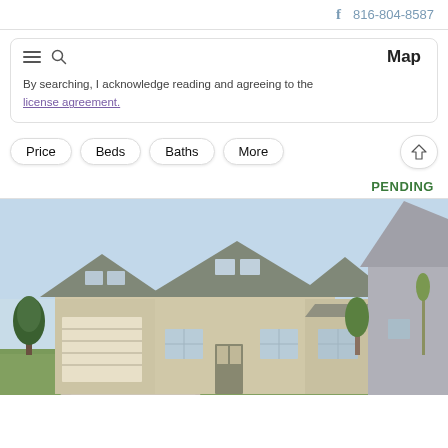816-804-8587
By searching, I acknowledge reading and agreeing to the license agreement.
Map
Price
Beds
Baths
More
PENDING
[Figure (photo): Exterior photo of a two-story craftsman-style house with tan/beige siding, attached garage, covered front porch, and green lawn. A similar gray house is visible to the right. Clear blue sky in the background.]